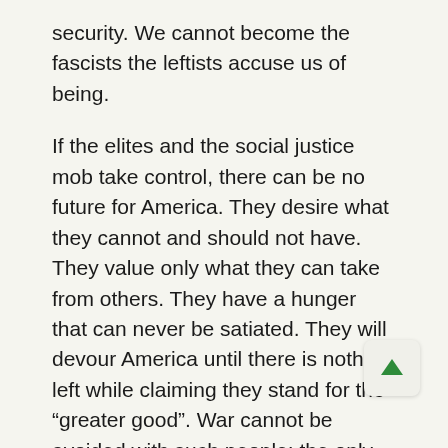security. We cannot become the fascists the leftists accuse us of being.
If the elites and the social justice mob take control, there can be no future for America. They desire what they cannot and should not have. They value only what they can take from others. They have a hunger that can never be satiated. They will devour America until there is nothing left while claiming they stand for the “greater good”. War cannot be avoided with such people; the only question is, will liberty minded people stay the course to ensure victory? From what I know and see, the answer is YES.
I will not comply. I will not give up my freedom, liberty, or my civil rights, to appease a TYRANN gov’t. Period, I rather die fighting, than live on my